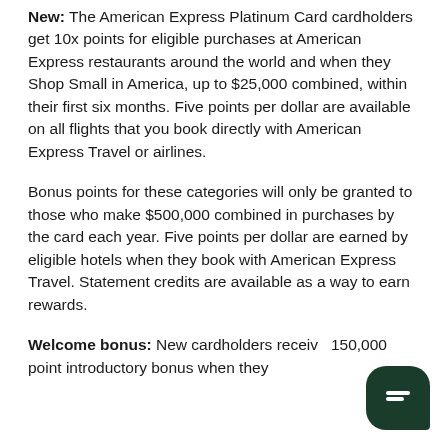New: The American Express Platinum Card cardholders get 10x points for eligible purchases at American Express restaurants around the world and when they Shop Small in America, up to $25,000 combined, within their first six months. Five points per dollar are available on all flights that you book directly with American Express Travel or airlines.
Bonus points for these categories will only be granted to those who make $500,000 combined in purchases by the card each year. Five points per dollar are earned by eligible hotels when they book with American Express Travel. Statement credits are available as a way to earn rewards.
Welcome bonus: New cardholders receive 150,000 point introductory bonus when they